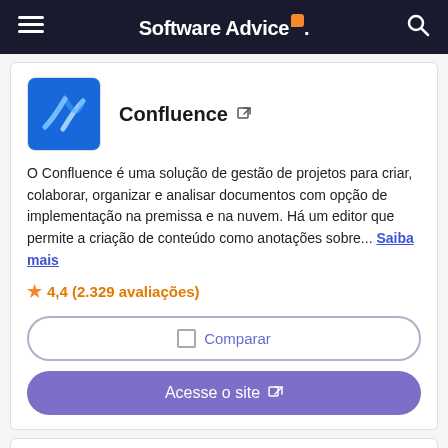Software Advice
Confluence
O Confluence é uma solução de gestão de projetos para criar, colaborar, organizar e analisar documentos com opção de implementação na premissa e na nuvem. Há um editor que permite a criação de conteúdo como anotações sobre... Saiba mais
★ 4,4 (2.329 avaliações)
Comparar
Acesse o site
Wrike